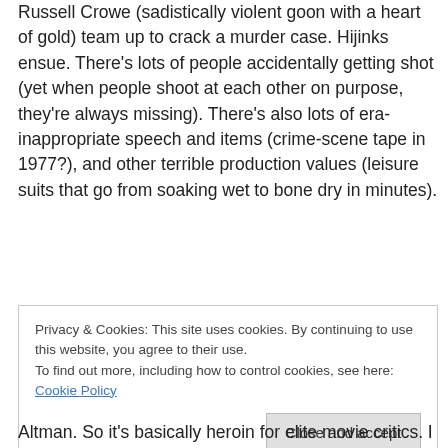Russell Crowe (sadistically violent goon with a heart of gold) team up to crack a murder case. Hijinks ensue. There's lots of people accidentally getting shot (yet when people shoot at each other on purpose, they're always missing). There's also lots of era-inappropriate speech and items (crime-scene tape in 1977?), and other terrible production values (leisure suits that go from soaking wet to bone dry in minutes).
October 24, 2016
Privacy & Cookies: This site uses cookies. By continuing to use this website, you agree to their use. To find out more, including how to control cookies, see here: Cookie Policy
Close and accept
Altman. So it's basically heroin for elite movie critics. I don't